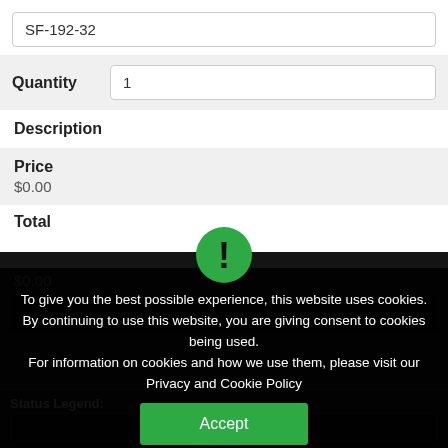SF-192-32
Quantity
1
Description
Price
$0.00
Total
$0.00
To give you the best possible experience, this website uses cookies. By continuing to use this website, you are giving consent to cookies being used.
For information on cookies and how we use them, please visit our Privacy and Cookie Policy
Accept
Status Legend: